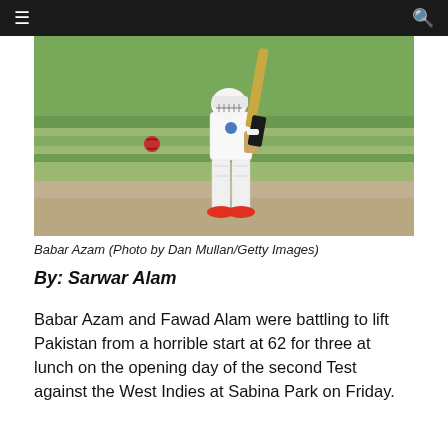≡  🔍
[Figure (photo): Babar Azam, a cricket player in white Test cricket uniform, holding a bat raised in the air, standing on a cricket ground with green grass background. A red cricket ball is visible in the air nearby.]
Babar Azam (Photo by Dan Mullan/Getty Images)
By: Sarwar Alam
Babar Azam and Fawad Alam were battling to lift Pakistan from a horrible start at 62 for three at lunch on the opening day of the second Test against the West Indies at Sabina Park on Friday.